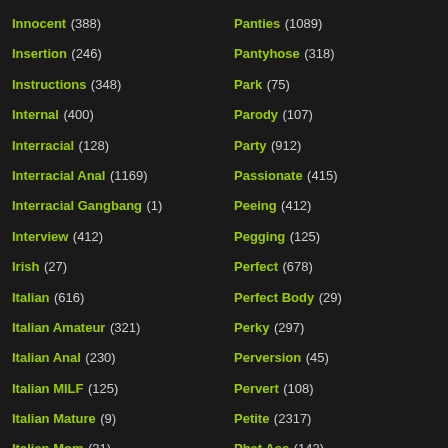Innocent (388)
Insertion (246)
Instructions (348)
Internal (400)
Interracial (128)
Interracial Anal (1169)
Interracial Gangbang (1)
Interview (412)
Irish (27)
Italian (616)
Italian Amateur (321)
Italian Anal (230)
Italian MILF (125)
Italian Mature (9)
Italian Mom (31)
Italian Vintage (15)
Panties (1089)
Pantyhose (318)
Park (75)
Parody (107)
Party (912)
Passionate (415)
Peeing (412)
Pegging (125)
Perfect (678)
Perfect Body (29)
Perky (297)
Perversion (45)
Pervert (108)
Petite (2317)
Phat Ass (142)
Phone (86)